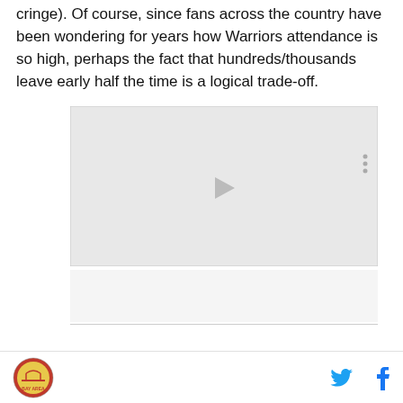cringe). Of course, since fans across the country have been wondering for years how Warriors attendance is so high, perhaps the fact that hundreds/thousands leave early half the time is a logical trade-off.
[Figure (other): Video player placeholder with light gray background, three vertical dots menu icon in top-right, and a play button arrow in the center.]
[Figure (other): Advertisement/ad placeholder area below the video player with a light gray background.]
Bay Area logo on the left; Twitter and Facebook social share icons on the right.